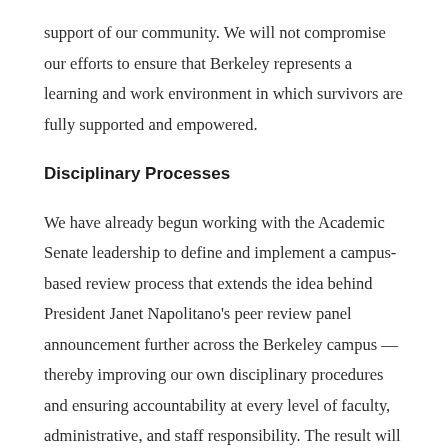support of our community. We will not compromise our efforts to ensure that Berkeley represents a learning and work environment in which survivors are fully supported and empowered.
Disciplinary Processes
We have already begun working with the Academic Senate leadership to define and implement a campus-based review process that extends the idea behind President Janet Napolitano's peer review panel announcement further across the Berkeley campus — thereby improving our own disciplinary procedures and ensuring accountability at every level of faculty, administrative, and staff responsibility. The result will be